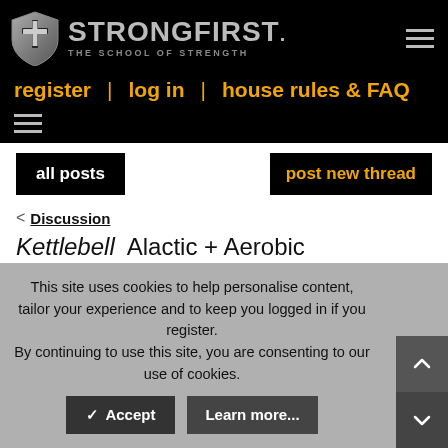StrongFirst — The School of Strength
register | log in | house rules & FAQ
all posts | post new thread
< Discussion
Kettlebell Alactic + Aerobic
Harald Motz · Sep 1, 2017 · a+a
This site uses cookies to help personalise content, tailor your experience and to keep you logged in if you register. By continuing to use this site, you are consenting to our use of cookies. Accept  Learn more...